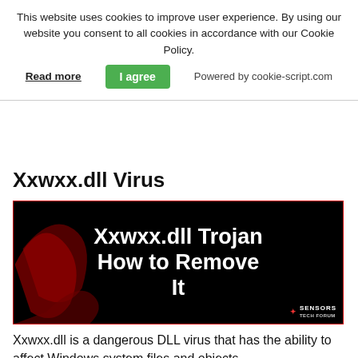This website uses cookies to improve user experience. By using our website you consent to all cookies in accordance with our Cookie Policy.
Read more   I agree   Powered by cookie-script.com
Xxwxx.dll Virus
[Figure (screenshot): Black background image with bold white text reading 'Xxwxx.dll Trojan How to Remove It', with red abstract swish decoration, and Sensors Tech Forum logo in bottom right corner.]
Xxwxx.dll is a dangerous DLL virus that has the ability to affect Windows system files and objects.